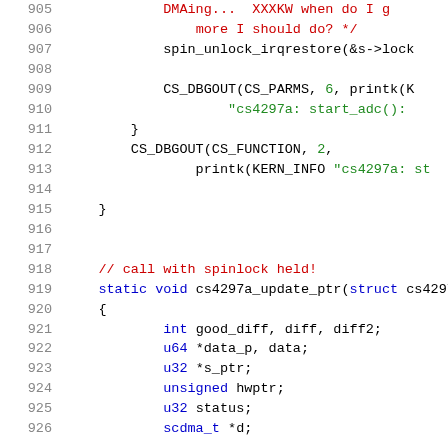[Figure (screenshot): Source code listing showing C kernel code for cs4297a driver, lines 905-926, with syntax highlighting: line numbers in gray, keywords in blue, strings in green, comments in red.]